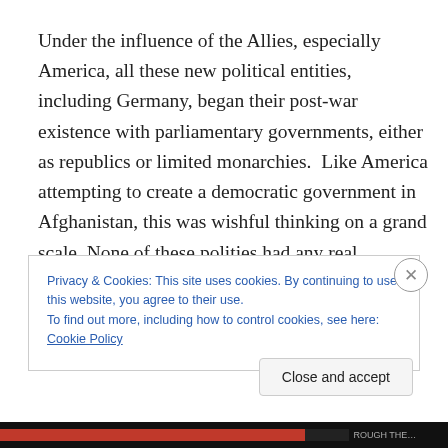Under the influence of the Allies, especially America, all these new political entities, including Germany, began their post-war existence with parliamentary governments, either as republics or limited monarchies.  Like America attempting to create a democratic government in Afghanistan, this was wishful thinking on a grand scale. None of these polities had any real experience with
Privacy & Cookies: This site uses cookies. By continuing to use this website, you agree to their use.
To find out more, including how to control cookies, see here: Cookie Policy
Close and accept